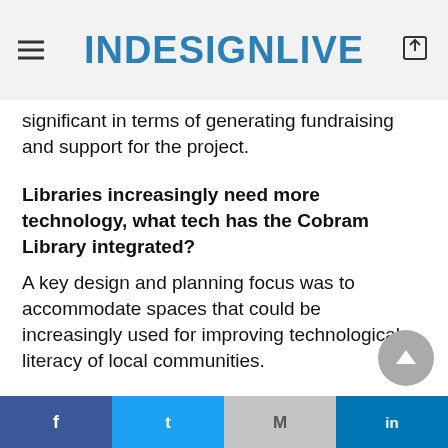INDESIGNLIVE
significant in terms of generating fundraising and support for the project.
Libraries increasingly need more technology, what tech has the Cobram Library integrated?
A key design and planning focus was to accommodate spaces that could be increasingly used for improving technological literacy of local communities.
Technology Spaces that have been integrated into the library include:
Makerspace and 3D printing spaces
Multimedia and video Streaming
Facebook  Twitter  Gmail  LinkedIn